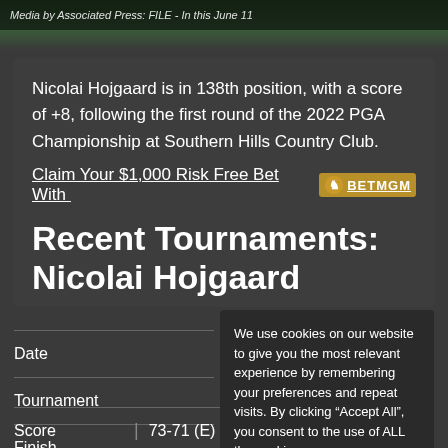Media by Associated Press: FILE - In this June 11
Nicolai Hojgaard is in 138th position, with a score of +8, following the first round of the 2022 PGA Championship at Southern Hills Country Club.
Claim Your $1,000 Risk Free Bet With BetMGM
Recent Tournaments: Nicolai Hojgaard
| Date | Tournament | Finish | Score |
| --- | --- | --- | --- |
|  |  |  | 73-71 (E) |
We use cookies on our website to give you the most relevant experience by remembering your preferences and repeat visits. By clicking “Accept All”, you consent to the use of ALL the cookies.